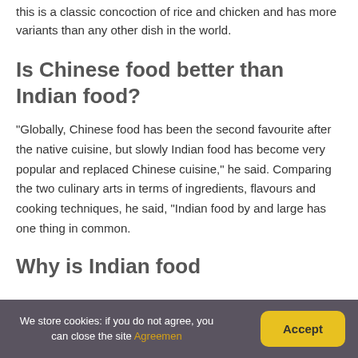this is a classic concoction of rice and chicken and has more variants than any other dish in the world.
Is Chinese food better than Indian food?
“Globally, Chinese food has been the second favourite after the native cuisine, but slowly Indian food has become very popular and replaced Chinese cuisine,” he said. Comparing the two culinary arts in terms of ingredients, flavours and cooking techniques, he said, “Indian food by and large has one thing in common.
Why is Indian food
We store cookies: if you do not agree, you can close the site Agreemen